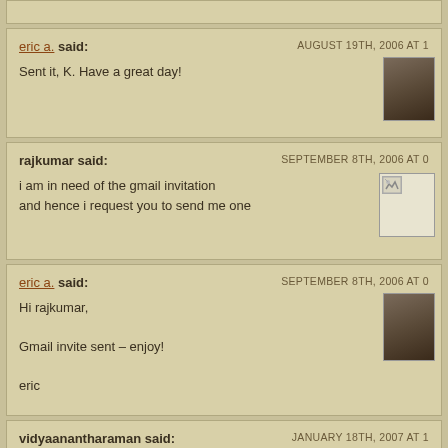(partial top comment block)
eric a. said: AUGUST 19TH, 2006 AT 1
Sent it, K. Have a great day!
rajkumar said: SEPTEMBER 8TH, 2006 AT 0
i am in need of the gmail invitation
and hence i request you to send me one
eric a. said: SEPTEMBER 8TH, 2006 AT 0
Hi rajkumar,
Gmail invite sent – enjoy!
eric
vidyaanantharaman said: JANUARY 18TH, 2007 AT 1